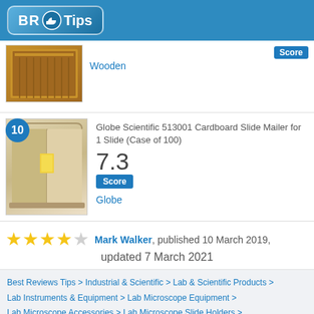[Figure (logo): BR Tips logo with blue background and thumbs up icon]
[Figure (photo): Wooden microscope slide box, partially visible at top]
Score
Wooden
[Figure (photo): Globe Scientific 513001 Cardboard Slide Mailer product image, item 10]
Globe Scientific 513001 Cardboard Slide Mailer for 1 Slide (Case of 100)
7.3
Score
Globe
★★★★☆ Mark Walker, published 10 March 2019, updated 7 March 2021
Best Reviews Tips > Industrial & Scientific > Lab & Scientific Products > Lab Instruments & Equipment > Lab Microscope Equipment > Lab Microscope Accessories > Lab Microscope Slide Holders > Lab Microscope Slide Holders
Trending Lab Microscope Slide Holders